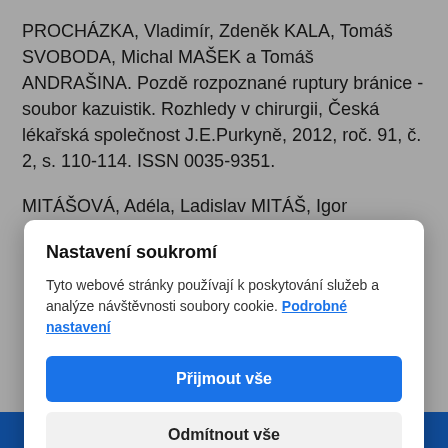PROCHÁZKA, Vladimír, Zdeněk KALA, Tomáš SVOBODA, Michal MAŠEK a Tomáš ANDRAŠINA. Pozdě rozpoznané ruptury bránice - soubor kazuistik. Rozhledy v chirurgii, Česká lékařská společnost J.E.Purkyně, 2012, roč. 91, č. 2, s. 110-114. ISSN 0035-9351.
MITÁŠOVÁ, Adéla, Ladislav MITÁŠ, Igor
Nastavení soukromí
Tyto webové stránky používají k poskytování služeb a analýze návštěvnosti soubory cookie. Podrobné nastavení
Přijmout vše
Odmítnout vše